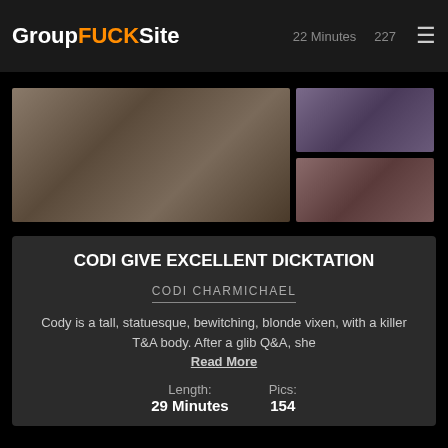GroupFUCKSite  22 Minutes  227
[Figure (photo): Adult content website screenshot with video thumbnail images]
CODI GIVE EXCELLENT DICKTATION
CODI CHARMICHAEL
Cody is a tall, statuesque, bewitching, blonde vixen, with a killer T&A body. After a glib Q&A, she Read More
Length: 29 Minutes    Pics: 154